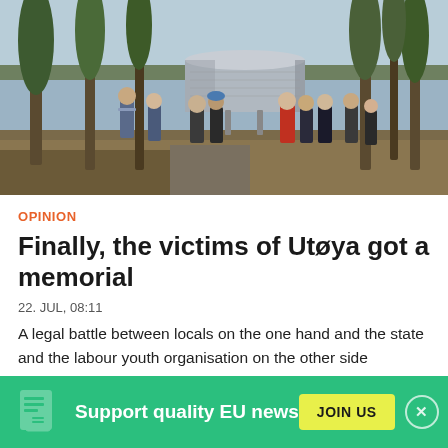[Figure (photo): Group of people gathered around a cylindrical metal memorial monument in a forest setting with trees and a lake visible in the background. Winter/early spring lighting, brown grass on the ground.]
OPINION
Finally, the victims of Utøya got a memorial
22. JUL, 08:11
A legal battle between locals on the one hand and the state and the labour youth organisation on the other side postponed the inception of the memorial in remembrance of the victims of
Support quality EU news
JOIN US